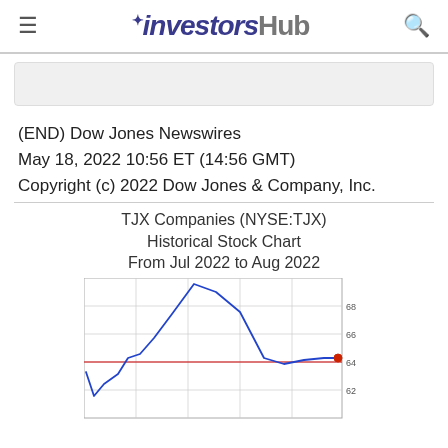investorsHub
(END) Dow Jones Newswires
May 18, 2022 10:56 ET (14:56 GMT)
Copyright (c) 2022 Dow Jones & Company, Inc.
[Figure (line-chart): Line chart showing TJX stock price from Jul 2022 to Aug 2022, ranging approximately from 62 to 68. Blue line, with a red horizontal reference line at ~64. Red dot marks latest price near 64.]